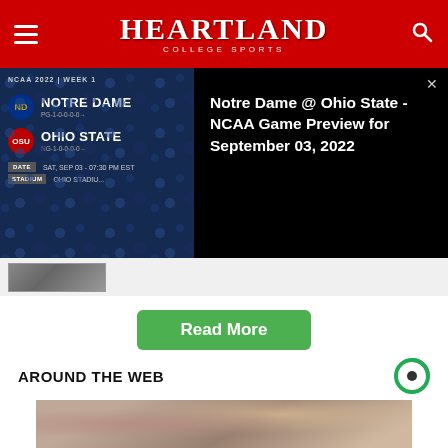HEARTLAND COLLEGE SPORTS
[Figure (screenshot): NCAA 2022 Week 1 game preview card for Notre Dame @ Ohio State, SAT SEP 03 - 07:30 PM EST, Ohio Stadium]
Notre Dame @ Ohio State - NCAA Game Preview for September 03, 2022
[Figure (photo): Small thumbnail image strip]
Read More
AROUND THE WEB
[Figure (photo): Close-up photo of a person's face with a bandage on their nose]